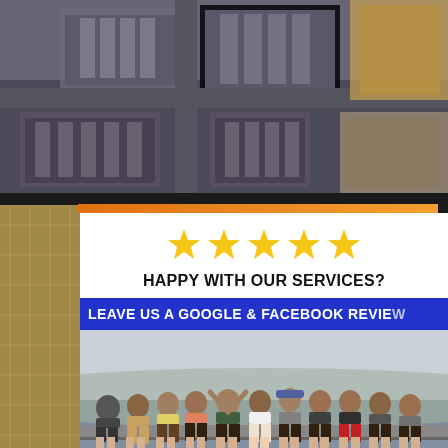[Figure (photo): Aerial view of city buildings and roads from above, greyscale/muted tones]
[Figure (infographic): Review request card with 5 gold stars, text 'HAPPY WITH OUR SERVICES?', blue banner 'LEAVE US A GOOGLE & FACEBOOK REVIEW', and group photo of people sitting on a ledge outdoors]